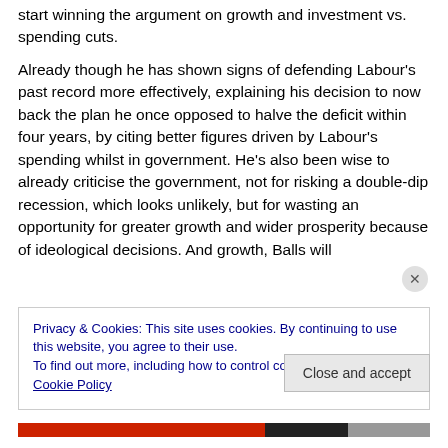start winning the argument on growth and investment vs. spending cuts.
Already though he has shown signs of defending Labour's past record more effectively, explaining his decision to now back the plan he once opposed to halve the deficit within four years, by citing better figures driven by Labour's spending whilst in government. He's also been wise to already criticise the government, not for risking a double-dip recession, which looks unlikely, but for wasting an opportunity for greater growth and wider prosperity because of ideological decisions. And growth, Balls will
Privacy & Cookies: This site uses cookies. By continuing to use this website, you agree to their use.
To find out more, including how to control cookies, see here: Cookie Policy
Close and accept